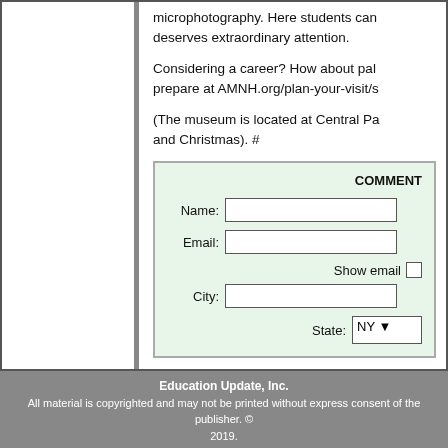microphotography. Here students can… deserves extraordinary attention.

Considering a career? How about pal… prepare at AMNH.org/plan-your-visit/s

(The museum is located at Central Pa… and Christmas). #
[Figure (screenshot): Comment form with fields for Name, Email, Show email checkbox, City, and State (NY dropdown) on a light green background]
Education Update, Inc.
All material is copyrighted and may not be printed without express consent of the publisher. © 2019.